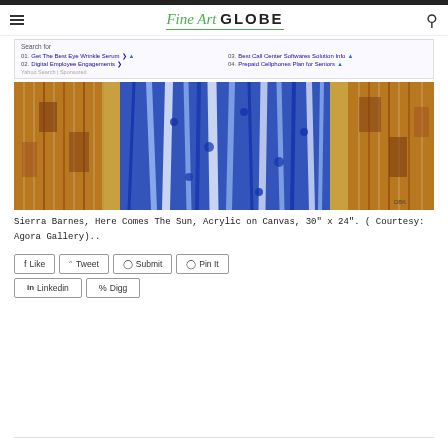Fine Art GLOBE
[Figure (photo): Painting by Sierra Barnes titled 'Here Comes The Sun', acrylic on canvas showing vertical striped patterns in blue, brown, orange and white hues]
Sierra Barnes, Here Comes The Sun, Acrylic on Canvas, 30″ x 24″. ( Courtesy: Agora Gallery)..
Like  Tweet  Submit  Pin It  Linkedin  Digg